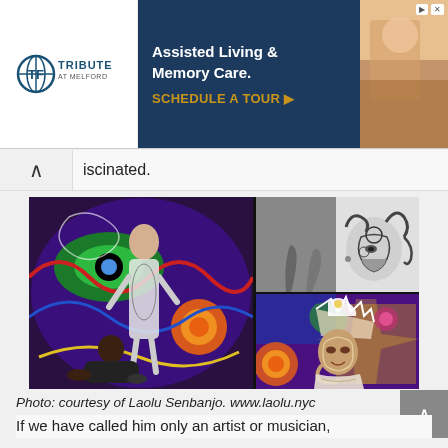[Figure (photo): Advertisement banner for Tribute at Melford assisted living and memory care community with a 'Schedule a Tour' call to action. Shows logo on left, dark blue text panel in center, and photo of elderly person on right.]
iscinated.
[Figure (photo): Photo collage of three images: left large image shows a person standing in front of a colorful psychedelic mural with intricate patterns, wearing body art that blends with the mural, with another person sitting on the floor. Top right: black and white photo of a woman with elaborate face paint looking upward. Bottom right: woman with crown/headdress and body art posing in front of a colorful patterned background.]
Photo: courtesy of Laolu Senbanjo. www.laolu.nyc
If we have called him only an artist or musician,